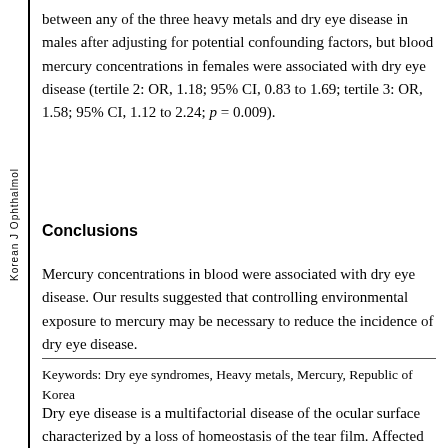between any of the three heavy metals and dry eye disease in males after adjusting for potential confounding factors, but blood mercury concentrations in females were associated with dry eye disease (tertile 2: OR, 1.18; 95% CI, 0.83 to 1.69; tertile 3: OR, 1.58; 95% CI, 1.12 to 2.24; p = 0.009).
Conclusions
Mercury concentrations in blood were associated with dry eye disease. Our results suggested that controlling environmental exposure to mercury may be necessary to reduce the incidence of dry eye disease.
Keywords: Dry eye syndromes, Heavy metals, Mercury, Republic of Korea
Dry eye disease is a multifactorial disease of the ocular surface characterized by a loss of homeostasis of the tear film. Affected patients typically present with tear film